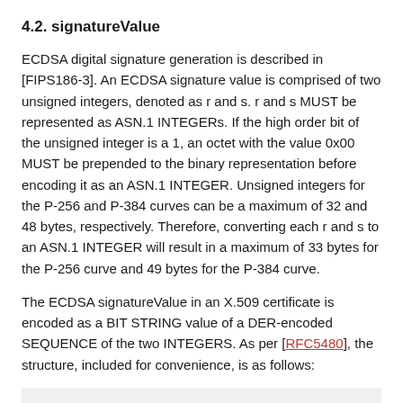4.2. signatureValue
ECDSA digital signature generation is described in [FIPS186-3]. An ECDSA signature value is comprised of two unsigned integers, denoted as r and s. r and s MUST be represented as ASN.1 INTEGERs. If the high order bit of the unsigned integer is a 1, an octet with the value 0x00 MUST be prepended to the binary representation before encoding it as an ASN.1 INTEGER. Unsigned integers for the P-256 and P-384 curves can be a maximum of 32 and 48 bytes, respectively. Therefore, converting each r and s to an ASN.1 INTEGER will result in a maximum of 33 bytes for the P-256 curve and 49 bytes for the P-384 curve.
The ECDSA signatureValue in an X.509 certificate is encoded as a BIT STRING value of a DER-encoded SEQUENCE of the two INTEGERS. As per [RFC5480], the structure, included for convenience, is as follows:
ECDSA-Sig-Value ::= SEQUENCE {